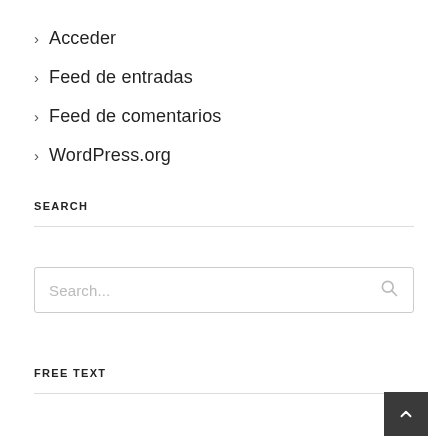Acceder
Feed de entradas
Feed de comentarios
WordPress.org
SEARCH
[Figure (other): Search input box with placeholder text 'Search...' and a search icon on the right]
FREE TEXT